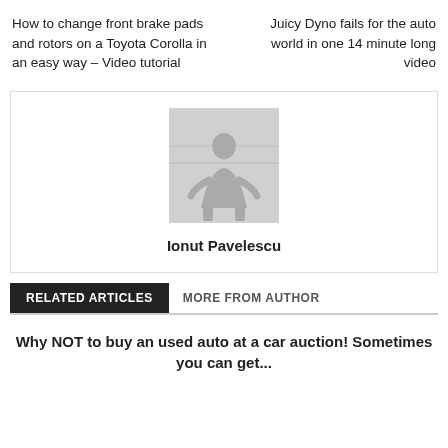How to change front brake pads and rotors on a Toyota Corolla in an easy way – Video tutorial
Juicy Dyno fails for the auto world in one 14 minute long video
[Figure (photo): Author profile photo showing a person silhouette]
Ionut Pavelescu
RELATED ARTICLES
MORE FROM AUTHOR
Why NOT to buy an used auto at a car auction! Sometimes you can get...